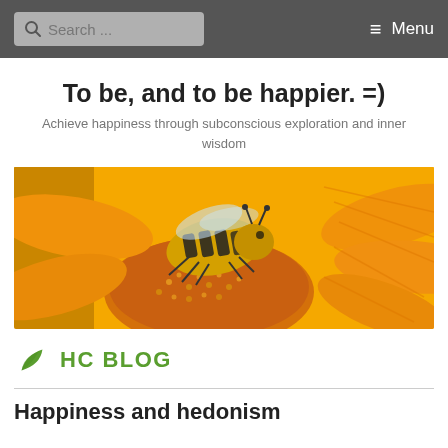Search ... Menu
To be, and to be happier. =)
Achieve happiness through subconscious exploration and inner wisdom
[Figure (photo): Close-up photo of a honey bee on a bright yellow/orange flower (sunflower or marigold), collecting pollen from the center of the flower.]
HC BLOG
Happiness and hedonism